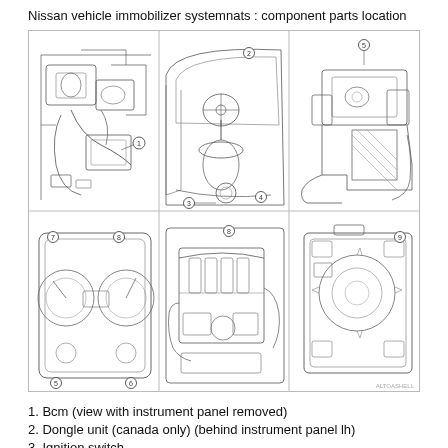Nissan vehicle immobilizer systemnats : component parts location
[Figure (engineering-diagram): Six-panel technical illustration showing component parts location for Nissan vehicle immobilizer system. Top row: engine bay/BCM area with label 1, dashboard/interior with labels 2, 3, 4, and steering column close-up with label 5. Bottom row: instrument cluster with labels 7, 8, 5, 6, engine bay top-down view with label 8, and ECM/transmission unit with label 9. Watermark 'ALTOASHELL' in bottom right.]
1. Bcm (view with instrument panel removed)
2. Dongle unit (canada only) (behind instrument panel lh)
3. Ignition switch